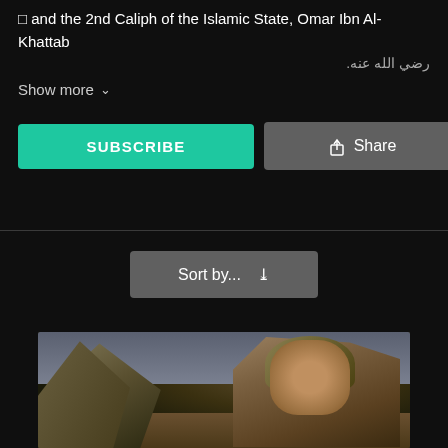□ and the 2nd Caliph of the Islamic State, Omar Ibn Al-Khattab رضي الله عنه.
Show more
[Figure (screenshot): SUBSCRIBE and Share buttons on a dark background YouTube-style UI]
[Figure (screenshot): Sort by... dropdown button on dark background]
[Figure (photo): Thumbnail image of a man in desert attire with turban, outdoor desert scene with tent in background]